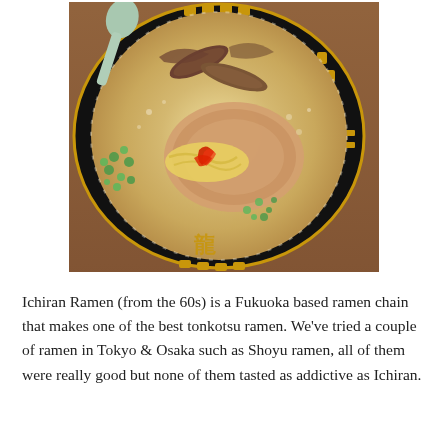[Figure (photo): A bowl of Ichiran tonkotsu ramen with milky broth, noodles, chashu pork, red pepper topping, green onions, and mushrooms, served in a black bowl with gold Japanese patterns. A green spoon rests in the bowl. The bowl sits on a wooden table.]
Ichiran Ramen (from the 60s) is a Fukuoka based ramen chain that makes one of the best tonkotsu ramen. We've tried a couple of ramen in Tokyo & Osaka such as Shoyu ramen, all of them were really good but none of them tasted as addictive as Ichiran.